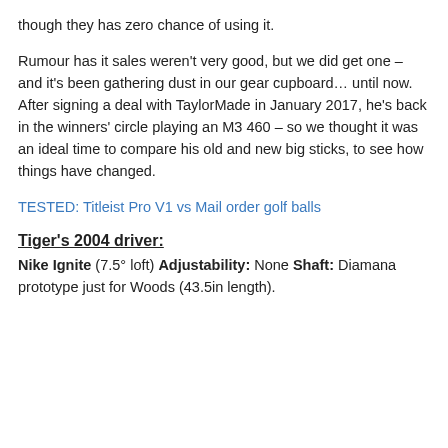though they has zero chance of using it.
Rumour has it sales weren't very good, but we did get one – and it's been gathering dust in our gear cupboard… until now. After signing a deal with TaylorMade in January 2017, he's back in the winners' circle playing an M3 460 – so we thought it was an ideal time to compare his old and new big sticks, to see how things have changed.
TESTED: Titleist Pro V1 vs Mail order golf balls
Tiger's 2004 driver:
Nike Ignite (7.5° loft) Adjustability: None Shaft: Diamana prototype just for Woods (43.5in length).